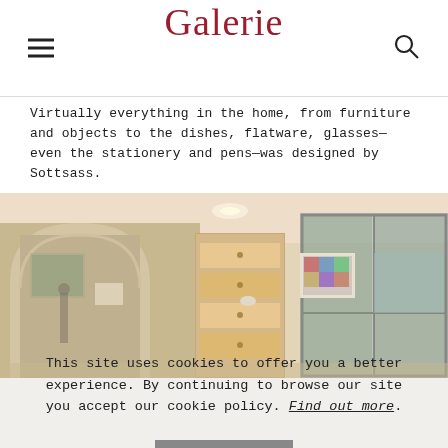Galerie
Virtually everything in the home, from furniture and objects to the dishes, flatware, glasses—even the stationery and pens—was designed by Sottsass.
PHOTO: TRADE WINDS PHOTOGRAPHY
[Figure (photo): Interior room photo showing an arched doorway leading to another room, a shelving unit with drawers, artwork on walls, and large sliding glass windows/doors showing greenery outside. Warm cream/beige walls with recessed lighting.]
This site uses cookies to offer you a better experience. By continuing to browse our site you accept our cookie policy. Find out more.
ACCEPT